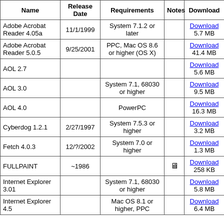| Name | Release Date | Requirements | Notes | Download |
| --- | --- | --- | --- | --- |
| Adobe Acrobat Reader 4.05a | 11/1/1999 | System 7.1.2 or later |  | Download 5.7 MB |
| Adobe Acrobat Reader 5.0.5 | 9/25/2001 | PPC, Mac OS 8.6 or higher (OS X) |  | Download 41.4 MB |
| AOL 2.7 |  |  |  | Download 5.6 MB |
| AOL 3.0 |  | System 7.1, 68030 or higher |  | Download 9.5 MB |
| AOL 4.0 |  | PowerPC |  | Download 16.3 MB |
| Cyberdog 1.2.1 | 2/27/1997 | System 7.5.3 or higher |  | Download 3.2 MB |
| Fetch 4.0.3 | 12/?/2002 | System 7.0 or higher |  | Download 1.3 MB |
| FULLPAINT | ~1986 |  | 🖥 | Download 258 KB |
| Internet Explorer 3.01 |  | System 7.1, 68030 or higher |  | Download 5.8 MB |
| Internet Explorer 4.5 |  | Mac OS 8.1 or higher, PPC |  | Download 6.4 MB |